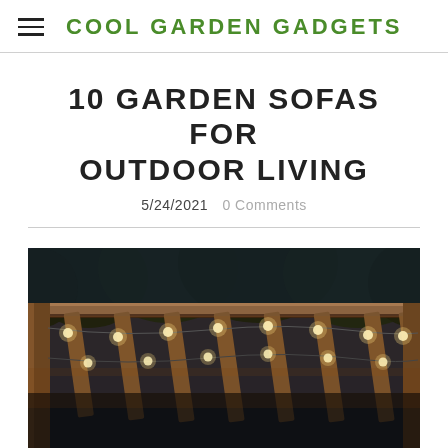COOL GARDEN GADGETS
10 GARDEN SOFAS FOR OUTDOOR LIVING
5/24/2021  0 Comments
[Figure (photo): Outdoor pergola at night with string lights, wooden beams, and trees in background]